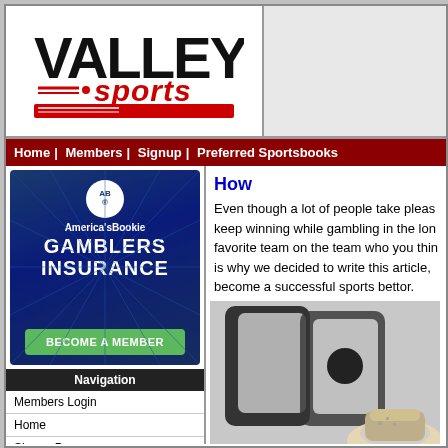[Figure (logo): Valley Sports logo with bold black VALLEY text and red e-sports script below with red horizontal lines]
Home | Members | Signup | Preferred Sportsbooks
[Figure (illustration): America's Bookie Gamblers Insurance - Become a Member advertisement banner]
Navigation
Members Login
Home
Signup Page
Preferred Sportsbooks
Free Sports Picks
Free Football Info
Free Football Picks
NFL Computer Picks
NFL Football Picks
College Picks
College Computer Picks
Pro Football Picks
How
Even though a lot of people take pleas keep winning while gambling in the lon favorite team on the team who you thin is why we decided to write this article, become a successful sports bettor.
[Figure (photo): Close-up photo of a sports shoe/sneaker on a gray background with circular shapes]